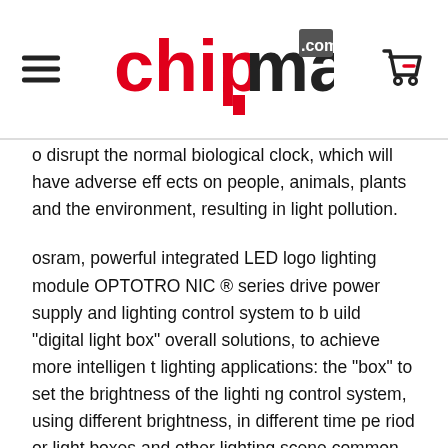chipmall.com
o disrupt the normal biological clock, which will have adverse effects on people, animals, plants and the environment, resulting in light pollution.
osram, powerful integrated LED logo lighting module OPTOTRONIC ® series drive power supply and lighting control system to build "digital light box" overall solutions, to achieve more intelligent lighting applications: the "box" to set the brightness of the lighting control system, using different brightness, in different time period or light boxes and other lighting scene common access lighting control system, build linkage, the background can be controlled lighting system combination.
For example, osram lighting control scheme can be applied to the subway and rail traffic light box, through the "time" default function, in the busy period of time, light box can be set to normal bri